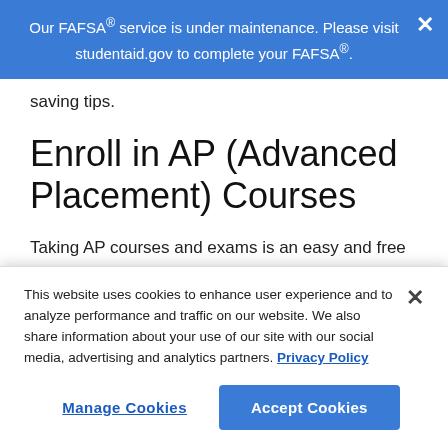Our FAFSA® service is under maintenance. Please visit studentaid.gov to complete your FAFSA®.
saving tips.
Enroll in AP (Advanced Placement) Courses
Taking AP courses and exams is an easy and free way to get college credit while in high school. AP classes are
This website uses cookies to enhance user experience and to analyze performance and traffic on our website. We also share information about your use of our site with our social media, advertising and analytics partners. Privacy Policy
Manage Cookies
Accept Cookies